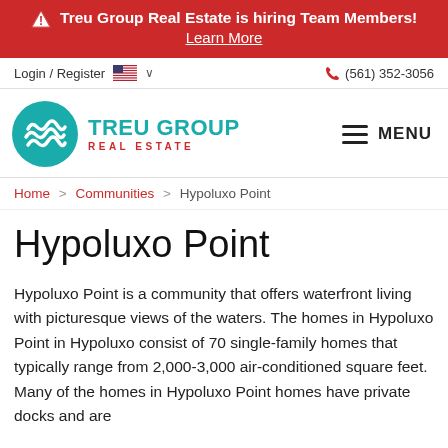⚠ Treu Group Real Estate is hiring Team Members! Learn More
Login / Register  🇺🇸 ∨    (561) 352-3056
[Figure (logo): Treu Group Real Estate logo with teal circular wave icon and MENU button]
Home > Communities > Hypoluxo Point
Hypoluxo Point
Hypoluxo Point is a community that offers waterfront living with picturesque views of the waters. The homes in Hypoluxo Point in Hypoluxo consist of 70 single-family homes that typically range from 2,000-3,000 air-conditioned square feet. Many of the homes in Hypoluxo Point homes have private docks and are